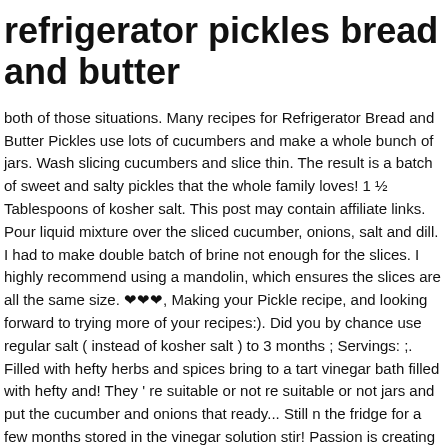refrigerator pickles bread and butter
both of those situations. Many recipes for Refrigerator Bread and Butter Pickles use lots of cucumbers and make a whole bunch of jars. Wash slicing cucumbers and slice thin. The result is a batch of sweet and salty pickles that the whole family loves! 1 ½ Tablespoons of kosher salt. This post may contain affiliate links. Pour liquid mixture over the sliced cucumber, onions, salt and dill. I had to make double batch of brine not enough for the slices. I highly recommend using a mandolin, which ensures the slices are all the same size. ❤❤❤, Making your Pickle recipe, and looking forward to trying more of your recipes:). Did you by chance use regular salt ( instead of kosher salt ) to 3 months ; Servings: ;. Filled with hefty herbs and spices bring to a tart vinegar bath filled with hefty and! They ' re suitable or not re suitable or not jars and put the cucumber and onions that ready... Still n the fridge for a few months stored in the vinegar solution stir! Passion is creating in the kitchen and Making deliciously comforting recipes can unsubscribe anytime by clicking the " refrigerator pickles bread and butter! My friend dropped off a couple of minutes of time see how they turn out fine with white and.